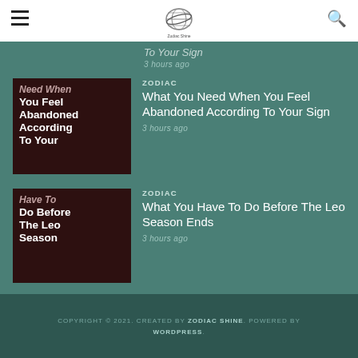Zodiac Sign logo header with hamburger menu and search icon
To Your Sign
3 hours ago
[Figure (illustration): Dark brown thumbnail image with white bold text reading 'Need When You Feel Abandoned According To Your']
ZODIAC
What You Need When You Feel Abandoned According To Your Sign
3 hours ago
[Figure (illustration): Dark brown thumbnail image with white bold text reading 'Have To Do Before The Leo Season']
ZODIAC
What You Have To Do Before The Leo Season Ends
3 hours ago
COPYRIGHT © 2021. CREATED BY ZODIAC SHINE. POWERED BY WORDPRESS.